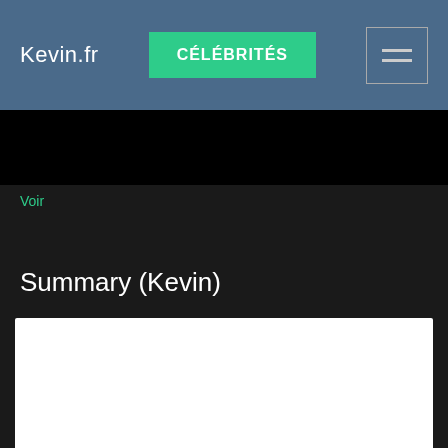Kevin.fr | CÉLÉBRITÉS
[Figure (screenshot): Black banner image strip]
Voir
Summary (Kevin)
[Figure (screenshot): White content box area]